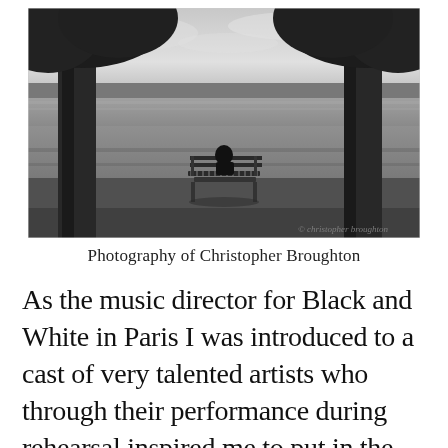[Figure (photo): Black and white photograph of a person sitting on a park bench between two large trees, facing a calm lake or river, with fields and trees visible in the background. Watermark reads 'christopher broughton' in the bottom right corner.]
Photography of Christopher Broughton
As the music director for Black and White in Paris I was introduced to a cast of very talented artists who through their performance during rehearsal inspired me to put in the time and effort necessary for a successful performance; not only